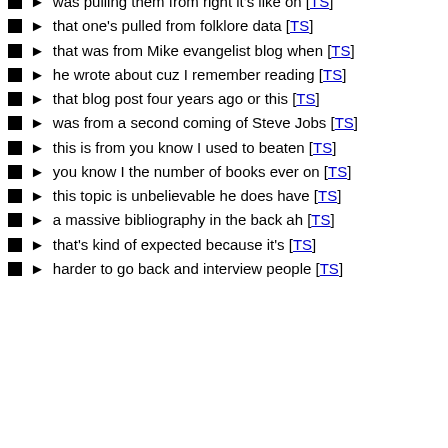was pulling them from right it's like on [TS]
that one's pulled from folklore data [TS]
that was from Mike evangelist blog when [TS]
he wrote about cuz I remember reading [TS]
that blog post four years ago or this [TS]
was from a second coming of Steve Jobs [TS]
this is from you know I used to beaten [TS]
you know I the number of books ever on [TS]
this topic is unbelievable he does have [TS]
a massive bibliography in the back ah [TS]
that's kind of expected because it's [TS]
harder to go back and interview people [TS]